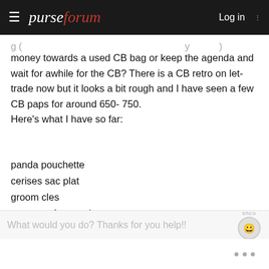purseforum — Log in
money towards a used CB bag or keep the agenda and wait for awhile for the CB? There is a CB retro on let-trade now but it looks a bit rough and I have seen a few CB paps for around 650- 750.
Here's what I have so far:
panda pouchette
cerises sac plat
groom cles
green perfo speedy
Trunks and bags agenda pm
What would you do? Thanks for you help!!